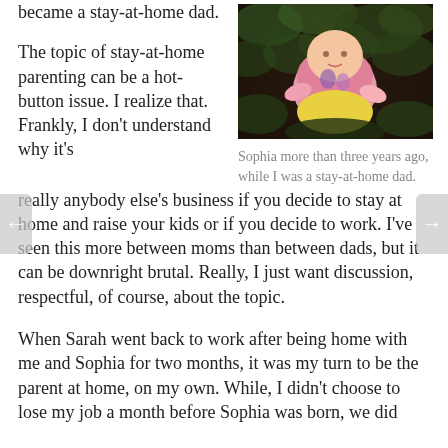became a stay-at-home dad.
[Figure (photo): A baby (Sophia) wearing a pink outfit lying among dark foliage, photographed more than three years ago.]
Sophia more than three years ago, while I was a stay-at-home dad.
The topic of stay-at-home parenting can be a hot-button issue. I realize that. Frankly, I don't understand why it's really anybody else's business if you decide to stay at home and raise your kids or if you decide to work. I've seen this more between moms than between dads, but it can be downright brutal. Really, I just want discussion, respectful, of course, about the topic.
When Sarah went back to work after being home with me and Sophia for two months, it was my turn to be the parent at home, on my own. While, I didn't choose to lose my job a month before Sophia was born, we did